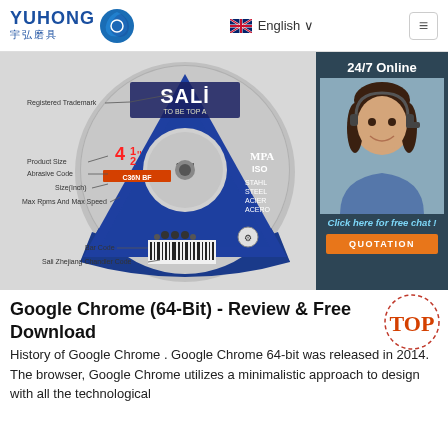YUHONG 宇弘磨具 | English
[Figure (photo): SALI grinding disc product photo with labeled parts: Registered Trademark, Product Size, Abrasive Code, Size(Inch), Max Rpms And Max Speed, Bar Code, Sali Zhejiang Chandler Code. Alongside a sidebar with a customer service agent, '24/7 Online', 'Click here for free chat!', and a QUOTATION button.]
Google Chrome (64-Bit) - Review & Free Download
History of Google Chrome . Google Chrome 64-bit was released in 2014. The browser, Google Chrome utilizes a minimalistic approach to design with all the technological